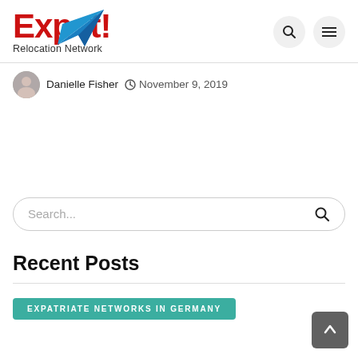[Figure (logo): Expat! Relocation Network logo with red bold text and blue paper plane icon]
Danielle Fisher  ⊙ November 9, 2019
Search...
Recent Posts
EXPATRIATE NETWORKS IN GERMANY